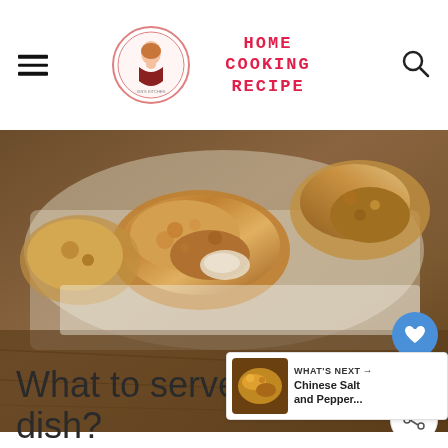HOME COOKING RECIPE
[Figure (photo): Close-up photo of golden brown fried chicken pieces on a plate with a dark wood background]
What to serve with this dish?
[Figure (photo): Thumbnail of Chinese Salt and Pepper dish — WHAT'S NEXT Chinese Salt and Pepper...]